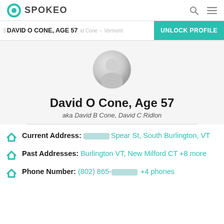SPOKEO
DAVID O CONE, AGE 57
Vermont > South Burlington
UNLOCK PROFILE
[Figure (illustration): Circular gray avatar placeholder image]
David O Cone, Age 57
aka David B Cone, David C Ridlon
Current Address: [blurred] Spear St, South Burlington, VT
Past Addresses: Burlington VT, New Milford CT +8 more
Phone Number: (802) 865-[blurred] +4 phones